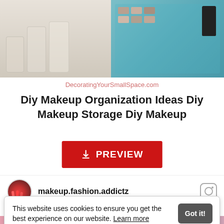[Figure (photo): Two-panel collage: left side shows glass mason jars on a light surface, right side shows a teal/turquoise shadow box organizer with makeup products including eyeshadow palettes, lipsticks, brushes in a black cup.]
DecoratingYourSmallSpace.com
Diy Makeup Organization Ideas Diy Makeup Storage Diy Makeup
[Figure (other): Red PREVIEW button with download icon]
makeup.fashion.addictz
This website uses cookies to ensure you get the best experience on our website. Learn more
[Figure (photo): Partial bottom strip showing a colorful makeup organization photo]